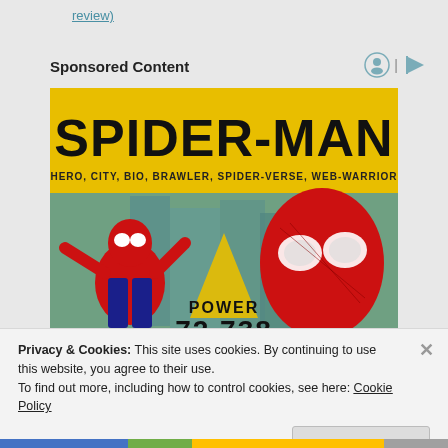review)
Sponsored Content
[Figure (illustration): Spider-Man video game advertisement on yellow background. Large bold text 'SPIDER-MAN' at top, subtitle 'HERO, CITY, BIO, BRAWLER, SPIDER-VERSE, WEB-WARRIOR'. Two Spider-Man figures — animated on left, realistic on right. Center text 'POWER 72,738'.]
Privacy & Cookies: This site uses cookies. By continuing to use this website, you agree to their use.
To find out more, including how to control cookies, see here: Cookie Policy
Close and accept